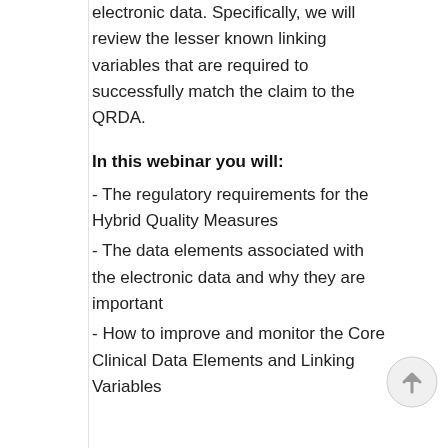electronic data. Specifically, we will review the lesser known linking variables that are required to successfully match the claim to the QRDA.
In this webinar you will:
- The regulatory requirements for the Hybrid Quality Measures
- The data elements associated with the electronic data and why they are important
- How to improve and monitor the Core Clinical Data Elements and Linking Variables